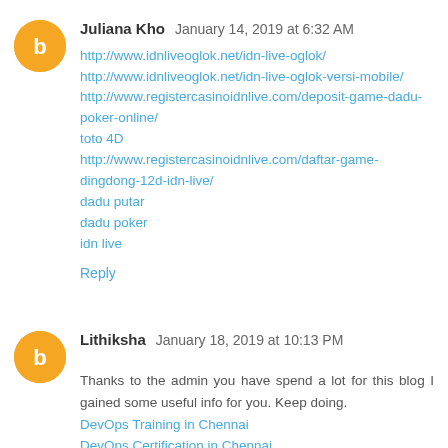Juliana Kho  January 14, 2019 at 6:32 AM
http://www.idnliveoglok.net/idn-live-oglok/
http://www.idnliveoglok.net/idn-live-oglok-versi-mobile/
http://www.registercasinoidnlive.com/deposit-game-dadu-poker-online/
toto 4D
http://www.registercasinoidnlive.com/daftar-game-dingdong-12d-idn-live/
dadu putar
dadu poker
idn live
Reply
Lithiksha  January 18, 2019 at 10:13 PM
Thanks to the admin you have spend a lot for this blog I gained some useful info for you. Keep doing.
DevOps Training in Chennai
DevOps Certification in Chennai